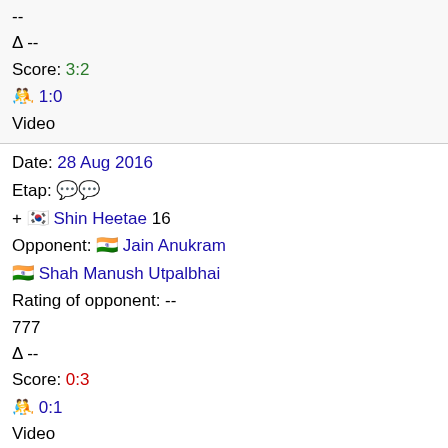--
Δ --
Score: 3:2
🤼 1:0
Video
Date: 28 Aug 2016
Etap: 💬💬
+ 🇰🇷 Shin Heetae 16
Opponent: 🇮🇳 Jain Anukram
🇮🇳 Shah Manush Utpalbhai
Rating of opponent: --
777
Δ --
Score: 0:3
🤼 0:1
Video
Date: 28 Aug 2016
Etap: 💬💬💬
+ 🇰🇷 Shin Heetao --